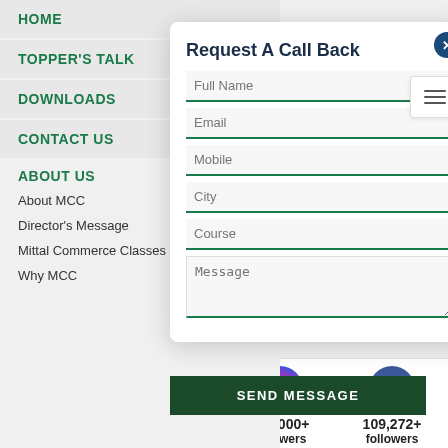HOME
TOPPER'S TALK
DOWNLOADS
CONTACT US
ABOUT US
About MCC
Director's Message
Mittal Commerce Classes In
Why MCC
Request A Call Back
Full Name
Email
Mobile
City
Course
Message
SEND MESSAGE
23,404+ Subscribers
116,088+ Subscribers
105,000+ followers
109,272+ followers